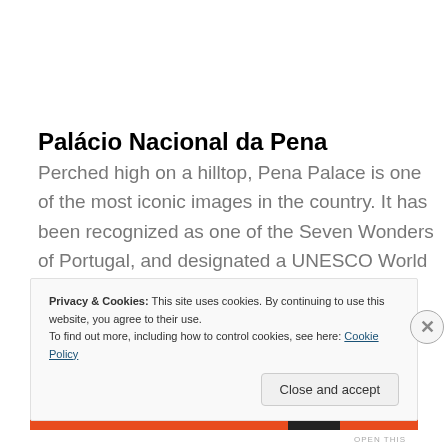Palácio Nacional da Pena
Perched high on a hilltop, Pena Palace is one of the most iconic images in the country. It has been recognized as one of the Seven Wonders of Portugal, and designated a UNESCO World Heritage Site.  Built in the 1840s by King Fernando II, it is one of the world's best examples of
Privacy & Cookies: This site uses cookies. By continuing to use this website, you agree to their use.
To find out more, including how to control cookies, see here: Cookie Policy
Close and accept